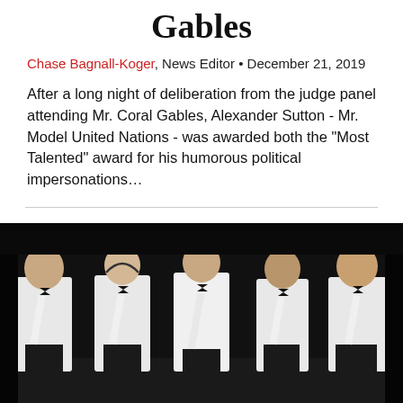Gables
Chase Bagnall-Koger, News Editor • December 21, 2019
After a long night of deliberation from the judge panel attending Mr. Coral Gables, Alexander Sutton - Mr. Model United Nations - was awarded both the "Most Talented" award for his humorous political impersonations…
[Figure (photo): Five young men in white dress shirts and bow ties standing in a line on a dark stage, each wearing a sash with a title.]